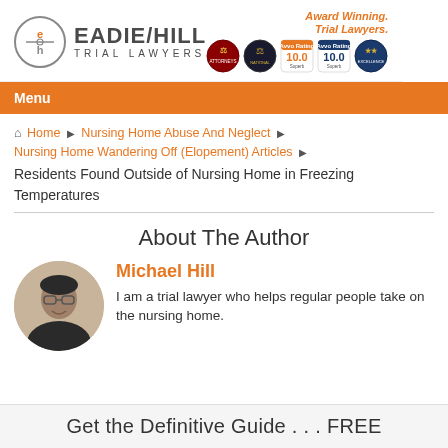[Figure (logo): Eadie/Hill Trial Lawyers logo with circular EH icon and firm name]
[Figure (infographic): Award badges: Award Winning Trial Lawyers with multiple certification seals including Avvo 10.0 ratings]
Menu
Home › Nursing Home Abuse And Neglect › Nursing Home Wandering Off (Elopement) Articles › Residents Found Outside of Nursing Home in Freezing Temperatures
About The Author
[Figure (photo): Circular headshot photo of Michael Hill, a man with glasses and dark hair]
Michael Hill
I am a trial lawyer who helps regular people take on the nursing home.
Get the Definitive Guide . . . FREE